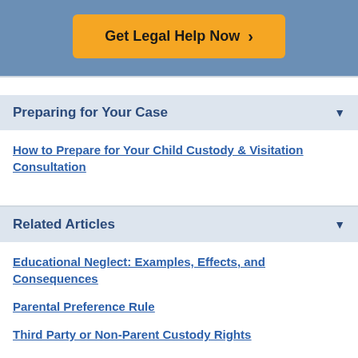[Figure (other): Orange CTA button labeled 'Get Legal Help Now >' on a blue/steel background banner]
Preparing for Your Case
How to Prepare for Your Child Custody & Visitation Consultation
Related Articles
Educational Neglect: Examples, Effects, and Consequences
Parental Preference Rule
Third Party or Non-Parent Custody Rights
Remarriage and Child Custody Rights
Child-Up Parenting Plan Lawyers